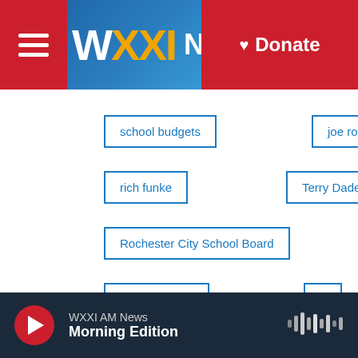[Figure (screenshot): WXXI News website header with hamburger menu, WXXI logo in white and gold, NEWS text, and red Donate button on right]
school budgets
joe robach
rich funke
Terry Dade
Rochester City School Board
robert franklin
1
[Figure (infographic): Social share buttons: Facebook (blue), Twitter (blue), LinkedIn (blue), Email (white with envelope icon)]
[Figure (photo): Photo of James Brown, a man with a shaved head]
James Brown
WXXI AM News
Morning Edition